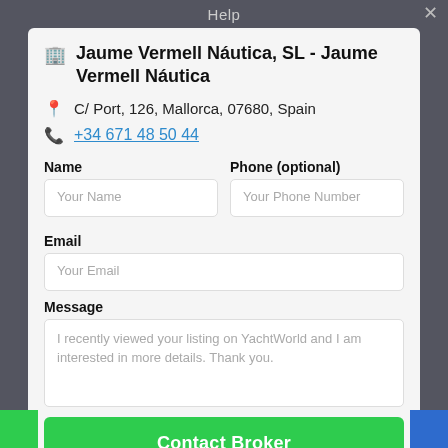Help
Jaume Vermell Náutica, SL - Jaume Vermell Náutica
C/ Port, 126, Mallorca, 07680, Spain
+34 671 48 50 44
Name
Your Name
Phone (optional)
Your Phone Number
Email
Your Email
Message
I recently viewed your listing on YachtWorld and I am interested in more details. Thank you.
Contact Broker